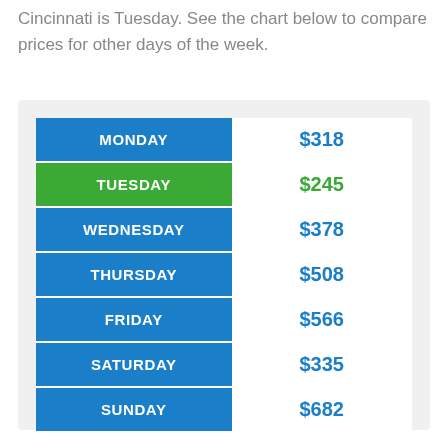Cincinnati is Tuesday. See the chart below to compare prices for other days of the week.
| Day | Price |
| --- | --- |
| MONDAY | $318 |
| TUESDAY | $245 |
| WEDNESDAY | $378 |
| THURSDAY | $508 |
| FRIDAY | $566 |
| SATURDAY | $335 |
| SUNDAY | $682 |